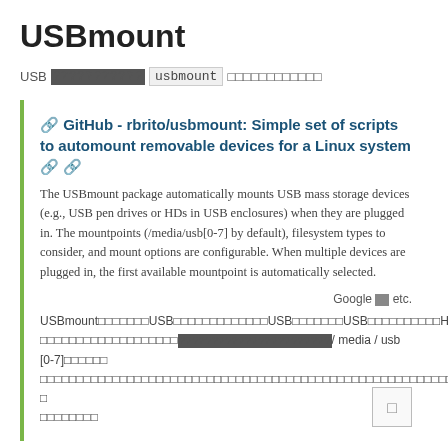USBmount
USB□□□□□□□[?????????] usbmount □□□□□□□□□□□□
🔗 GitHub - rbrito/usbmount: Simple set of scripts to automount removable devices for a Linux system 🔗 🔗
The USBmount package automatically mounts USB mass storage devices (e.g., USB pen drives or HDs in USB enclosures) when they are plugged in. The mountpoints (/media/usb[0-7] by default), filesystem types to consider, and mount options are configurable. When multiple devices are plugged in, the first available mountpoint is automatically selected.
Google etc.
USBmount□□□□□□□USB□□□□□□□□□□□□□USB□□□□□□□USB□□□□□□□□□□HD□□□□□□□□□□□□□□□□□□□□□[???????????????????????]/ media / usb [0-7]□□□□□□□□□□□□□□□□□□□□□□□□□□□□□□□□□□□□□□□□□□□□□□□□□□□□□□□□□□□□□□□□□□□□□□□□□□□□□□□□□□□□□□□□□□□□□□□□□□□□□□□ □
□□□□□□□□